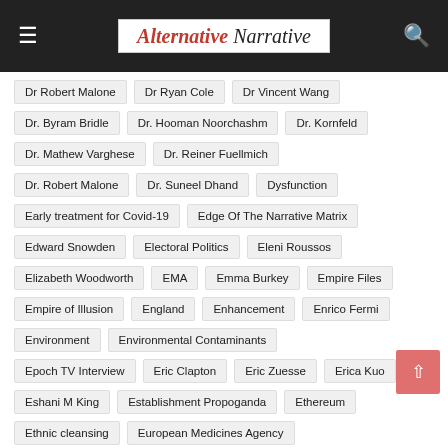Alternative Narrative
Dr Robert Malone
Dr Ryan Cole
Dr Vincent Wang
Dr. Byram Bridle
Dr. Hooman Noorchashm
Dr. Kornfeld
Dr. Mathew Varghese
Dr. Reiner Fuellmich
Dr. Robert Malone
Dr. Suneel Dhand
Dysfunction
Early treatment for Covid-19
Edge Of The Narrative Matrix
Edward Snowden
Electoral Politics
Eleni Roussos
Elizabeth Woodworth
EMA
Emma Burkey
Empire Files
Empire of Illusion
England
Enhancement
Enrico Fermi
Environment
Environmental Contaminants
Epoch TV Interview
Eric Clapton
Eric Zuesse
Erica Kuo
Eshani M King
Establishment Propoganda
Ethereum
Ethnic cleansing
European Medicines Agency
European Parliament Member
Everest Romney